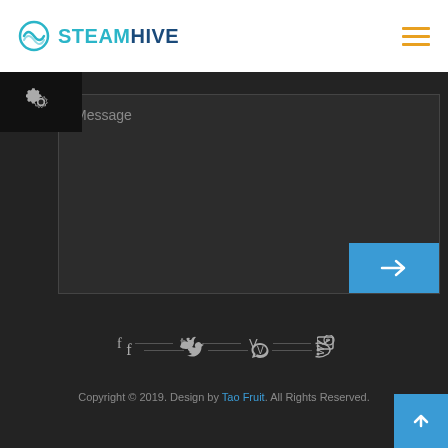STEAMHIVE
[Figure (screenshot): Message input text area with dark background and send arrow button]
[Figure (infographic): Social media icons row: Facebook, Twitter, Vimeo, RSS feed, with horizontal dividers]
Copyright © 2019. Design by Tao Fruit. All Rights Reserved.